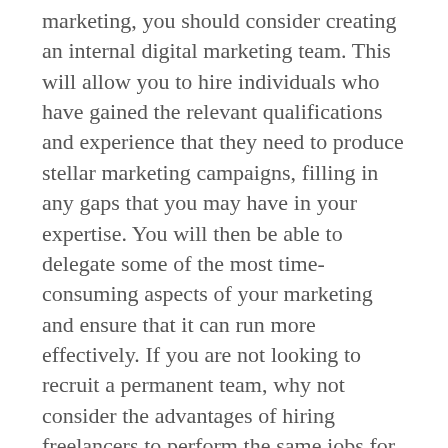marketing, you should consider creating an internal digital marketing team. This will allow you to hire individuals who have gained the relevant qualifications and experience that they need to produce stellar marketing campaigns, filling in any gaps that you may have in your expertise. You will then be able to delegate some of the most time-consuming aspects of your marketing and ensure that it can run more effectively. If you are not looking to recruit a permanent team, why not consider the advantages of hiring freelancers to perform the same jobs for you on a temporary and more relaxed basis? Also, consider that some of your current employees might have a surprising creative quality that is just waiting for this chance to shine.